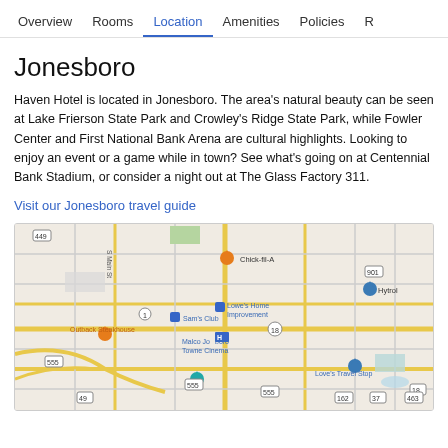Overview  Rooms  Location  Amenities  Policies  R
Jonesboro
Haven Hotel is located in Jonesboro. The area’s natural beauty can be seen at Lake Frierson State Park and Crowley’s Ridge State Park, while Fowler Center and First National Bank Arena are cultural highlights. Looking to enjoy an event or a game while in town? See what’s going on at Centennial Bank Stadium, or consider a night out at The Glass Factory 311.
Visit our Jonesboro travel guide
[Figure (map): Google Maps view of Jonesboro area showing streets, highways, and landmarks including Chick-fil-A, Sam's Club, Lowe's Home Improvement, Outback Steakhouse, Malco Jonesboro Towne Cinema, Hytrol, Love's Travel Stop markers and highway labels such as 449, 555, 49, 901, 18, 37, 162, 463.]